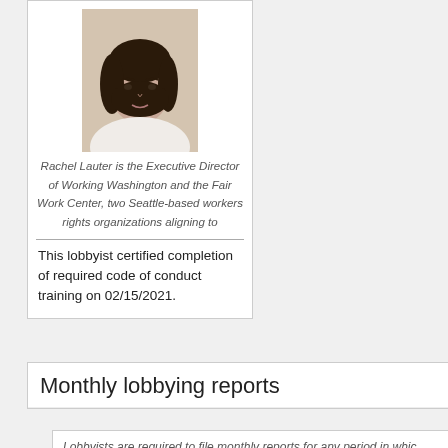[Figure (photo): Headshot photo of Rachel Lauter, a woman with dark hair, wearing a white top, against a light background]
Rachel Lauter is the Executive Director of Working Washington and the Fair Work Center, two Seattle-based workers rights organizations aligning to
This lobbyist certified completion of required code of conduct training on 02/15/2021.
Monthly lobbying reports
Lobbyists are required to file monthly reports for any period in whic